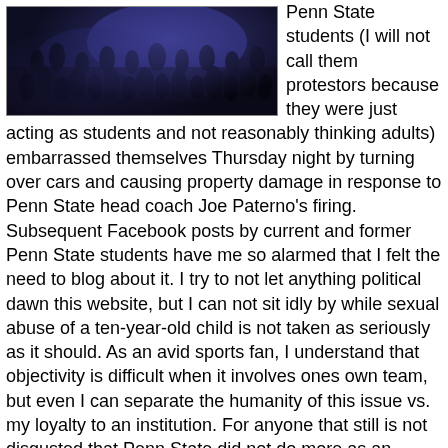[Figure (photo): Dark photo of a crowd of Penn State students at night, with blue/purple lighting visible]
Penn State students (I will not call them protestors because they were just acting as students and not reasonably thinking adults) embarrassed themselves Thursday night by turning over cars and causing property damage in response to Penn State head coach Joe Paterno's firing.  Subsequent Facebook posts by current and former Penn State students have me so alarmed that I felt the need to blog about it.  I try to not let anything political dawn this website, but I can not sit idly by while sexual abuse of a ten-year-old child is not taken as seriously as it should.  As an avid sports fan, I understand that objectivity is difficult when it involves ones own team, but even I can separate the humanity of this issue vs. my loyalty to an institution.  For anyone that still is not disgusted that Penn State did not do more as an institution to prevent the clusterfuck that is the current investigation on sex abuse ON THE PENN STATE CAMPUS (I'll explain later why that is capitalized), these are the reasons why Penn State and everyone involved deserves any and all punishment they get: